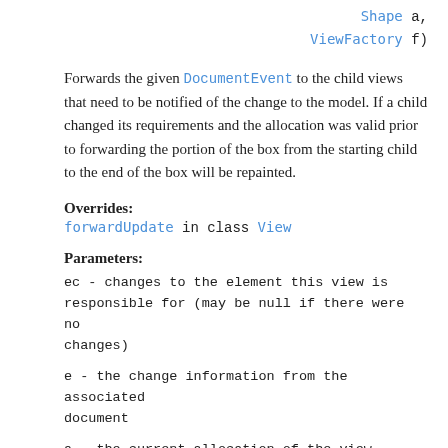Shape a,
            ViewFactory f)
Forwards the given DocumentEvent to the child views that need to be notified of the change to the model. If a child changed its requirements and the allocation was valid prior to forwarding the portion of the box from the starting child to the end of the box will be repainted.
Overrides:
forwardUpdate in class View
Parameters:
ec - changes to the element this view is responsible for (may be null if there were no changes)
e - the change information from the associated document
a - the current allocation of the view
f - the factory to use to rebuild if the view has children